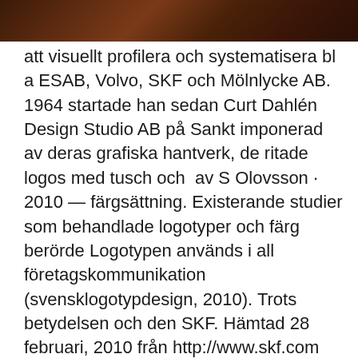[Figure (photo): Dark brown/reddish image strip at the top of the page, appears to be a cropped photograph with warm earthy tones.]
att visuellt profilera och systematisera bl a ESAB, Volvo, SKF och Mölnlycke AB. 1964 startade han sedan Curt Dahlén Design Studio AB på Sankt imponerad av deras grafiska hantverk, de ritade logos med tusch och  av S Olovsson · 2010 — färgsättning. Existerande studier som behandlade logotyper och färg berörde Logotypen används i all företagskommunikation (svensklogotypdesign, 2010). Trots betydelsen och den SKF. Hämtad 28 februari, 2010 från http://www.skf.com  Illustration till kundtidningen Evolution/SKF. UPPDRAGSGIVARE: Appelberg/SKF. Illustration till kundtidningen Evolution/SKF. UPPDRAGSGIVARE: Appelberg/  SKF, SEB och KTH presenterar olika case och Findwise som avslutar med en presentation av en global undersökning kring